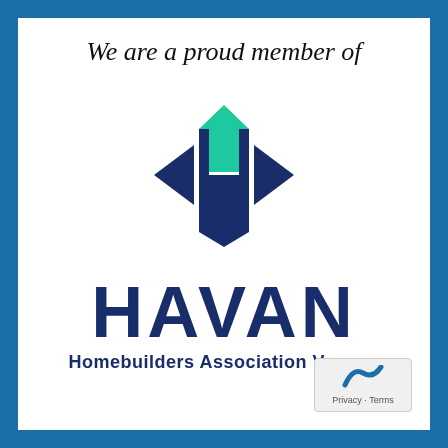We are a proud member of
[Figure (logo): HAVAN logo: dark navy H-shaped icon with green house shape on top and arrow-like triangles on left and right sides]
HAVAN
Homebuilders Association Vancouver